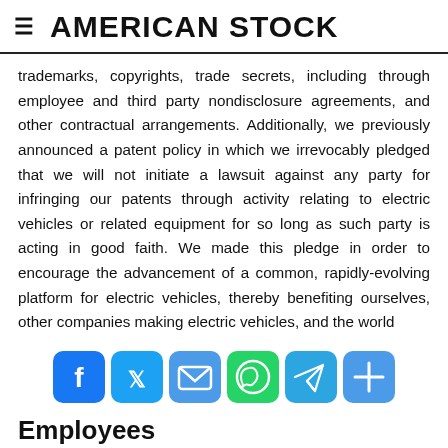AMERICAN STOCK
trademarks, copyrights, trade secrets, including through employee and third party nondisclosure agreements, and other contractual arrangements. Additionally, we previously announced a patent policy in which we irrevocably pledged that we will not initiate a lawsuit against any party for infringing our patents through activity relating to electric vehicles or related equipment for so long as such party is acting in good faith. We made this pledge in order to encourage the advancement of a common, rapidly-evolving platform for electric vehicles, thereby benefiting ourselves, other companies making electric vehicles, and the world
[Figure (infographic): Social sharing buttons: Facebook (blue), Twitter (blue), Email (blue), WhatsApp (green), Telegram (blue), Share/Plus (blue)]
Employees